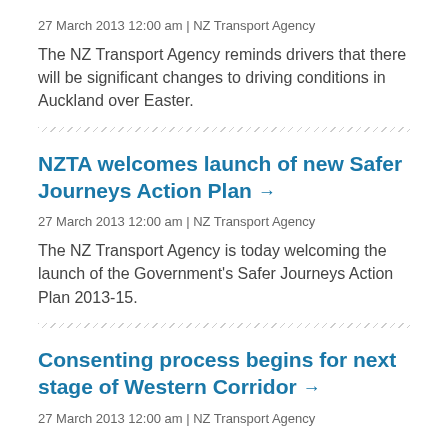27 March 2013 12:00 am | NZ Transport Agency
The NZ Transport Agency reminds drivers that there will be significant changes to driving conditions in Auckland over Easter.
NZTA welcomes launch of new Safer Journeys Action Plan →
27 March 2013 12:00 am | NZ Transport Agency
The NZ Transport Agency is today welcoming the launch of the Government's Safer Journeys Action Plan 2013-15.
Consenting process begins for next stage of Western Corridor →
27 March 2013 12:00 am | NZ Transport Agency